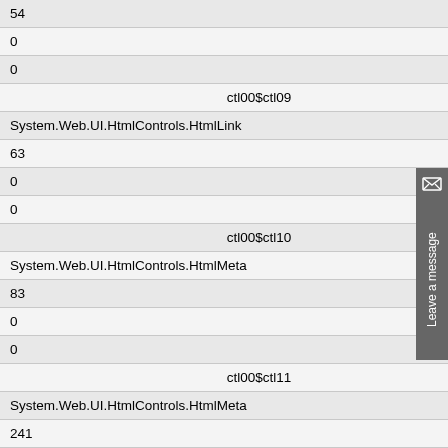| 54 |
| 0 |
| 0 |
| ctl00$ctl09 |
| System.Web.UI.HtmlControls.HtmlLink |
| 63 |
| 0 |
| 0 |
| ctl00$ctl10 |
| System.Web.UI.HtmlControls.HtmlMeta |
| 83 |
| 0 |
| 0 |
| ctl00$ctl11 |
| System.Web.UI.HtmlControls.HtmlMeta |
| 241 |